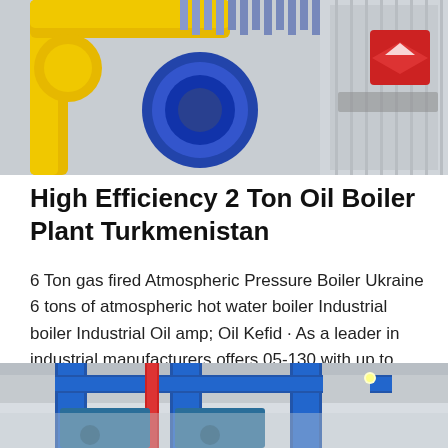[Figure (photo): Industrial boiler equipment with yellow pipes and blue circular element, Chinese manufacturer logo visible on silver casing]
High Efficiency 2 Ton Oil Boiler Plant Turkmenistan
6 Ton gas fired Atmospheric Pressure Boiler Ukraine 6 tons of atmospheric hot water boiler Industrial boiler Industrial Oil amp; Oil Kefid · As a leader in industrial manufacturers offers 05-130 with up to 981MPa / 981bar...
[Figure (photo): Industrial boiler room with blue pipes and red vertical pipes, ceiling-mounted equipment visible]